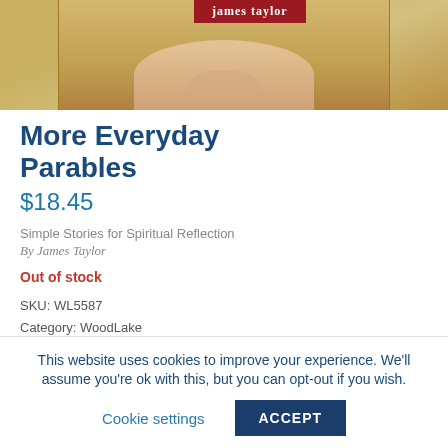[Figure (photo): Partial view of a book cover showing hands holding a yellow plate, with 'James Taylor' text on a red banner at the top.]
More Everyday Parables
$18.45
Simple Stories for Spiritual Reflection
By James Taylor
Out of stock
SKU: WL5587
Category: WoodLake
Product ID: 26766
This website uses cookies to improve your experience. We'll assume you're ok with this, but you can opt-out if you wish.
Cookie settings  ACCEPT